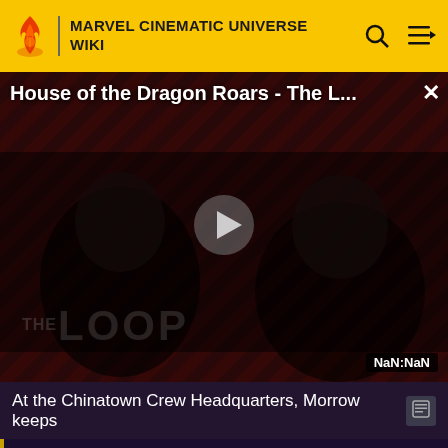MARVEL CINEMATIC UNIVERSE WIKI
[Figure (screenshot): Video player showing 'House of the Dragon Roars - The L...' with play button, THE LOOP branding, and timestamp NaN:NaN]
At the Chinatown Crew Headquarters, Morrow keeps
We advise caution when dealing with any recently-released media involving multiversal subjects. Please do not make assumptions regarding confusing wording, other sites' speculation, and people's headcanon around the internet.